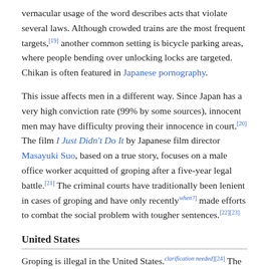vernacular usage of the word describes acts that violate several laws. Although crowded trains are the most frequent targets,[19] another common setting is bicycle parking areas, where people bending over unlocking locks are targeted. Chikan is often featured in Japanese pornography.
This issue affects men in a different way. Since Japan has a very high conviction rate (99% by some sources), innocent men may have difficulty proving their innocence in court.[20] The film I Just Didn't Do It by Japanese film director Masayuki Suo, based on a true story, focuses on a male office worker acquitted of groping after a five-year legal battle.[21] The criminal courts have traditionally been lenient in cases of groping and have only recently[when?] made efforts to combat the social problem with tougher sentences.[22][23]
United States
Groping is illegal in the United States.[clarification needed][24] The charge can vary from state to state but generally is considered